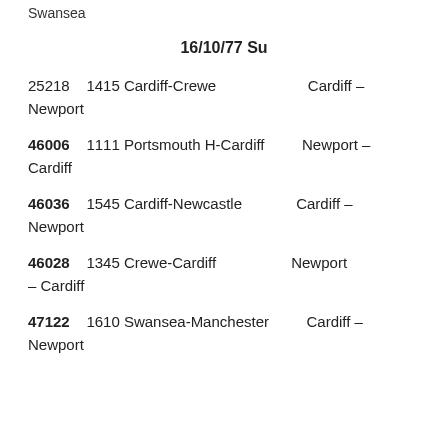Swansea
16/10/77 Su
25218    1415 Cardiff-Crewe                         Cardiff – Newport
46006    1111 Portsmouth H-Cardiff                Newport – Cardiff
46036    1545 Cardiff-Newcastle                    Cardiff – Newport
46028    1345 Crewe-Cardiff                        Newport – Cardiff
47122    1610 Swansea-Manchester                Cardiff – Newport